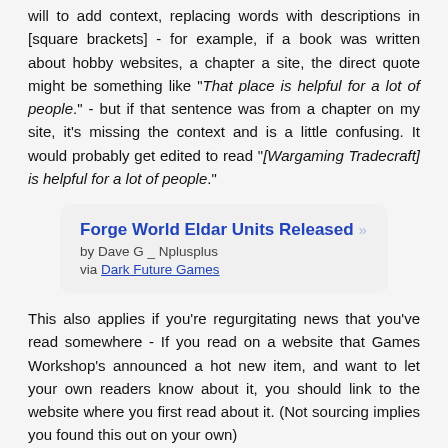You should also word-doing quotes, though many editors will to add context, replacing words with descriptions in [square brackets] - for example, if a book was written about hobby websites, a chapter a site, the direct quote might be something like "That place is helpful for a lot of people." - but if that sentence was from a chapter on my site, it's missing the context and is a little confusing. It would probably get edited to read "[Wargaming Tradecraft] is helpful for a lot of people."
[Figure (other): Embedded card/link preview: 'Forge World Eldar Units Released' by Dave G _ Nplusplus, via Dark Future Games]
This also applies if you're regurgitating news that you've read somewhere - If you read on a website that Games Workshop's announced a hot new item, and want to let your own readers know about it, you should link to the website where you first read about it. (Not sourcing implies you found this out on your own)